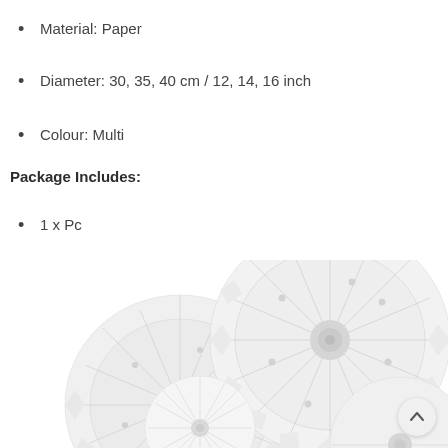Material: Paper
Diameter: 30, 35, 40 cm / 12, 14, 16 inch
Colour: Multi
Package Includes:
1 x Pc
[Figure (photo): White paper fan decorations resembling snowflakes or sunbursts, multiple overlapping circular paper fans with spiky decorative edges and perforated patterns, displayed against a white background.]